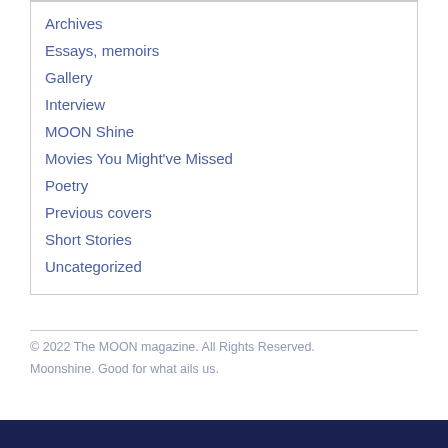Archives
Essays, memoirs
Gallery
Interview
MOON Shine
Movies You Might've Missed
Poetry
Previous covers
Short Stories
Uncategorized
© 2022 The MOON magazine. All Rights Reserved.
Moonshine. Good for what ails us.